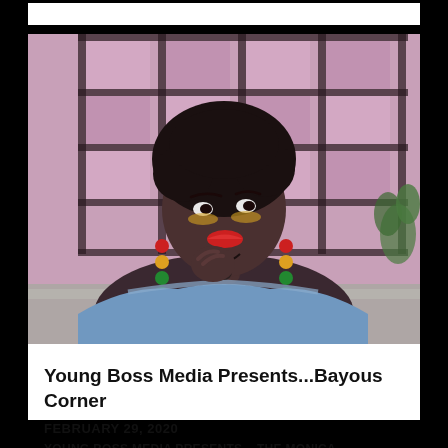[Figure (photo): A woman with natural hair wearing a blue off-shoulder top and colorful drop earrings (red, yellow, green) sits in front of a pink grid-patterned backdrop. She has her hand raised near her chin in a thoughtful pose.]
Young Boss Media Presents...Bayous Corner
FEBRUARY 29, 2020
YOUNG BOSS MEDIA PRESENTS... THE MONICA